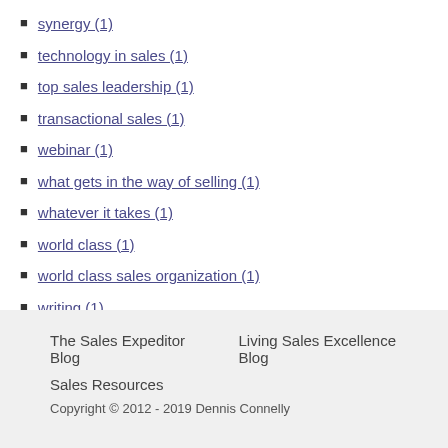synergy (1)
technology in sales (1)
top sales leadership (1)
transactional sales (1)
webinar (1)
what gets in the way of selling (1)
whatever it takes (1)
world class (1)
world class sales organization (1)
writing (1)
The Sales Expeditor Blog   Living Sales Excellence Blog   Sales Resources   Copyright © 2012 - 2019 Dennis Connelly